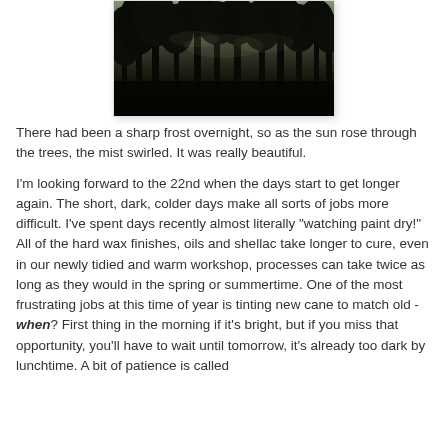[Figure (photo): Dark silhouette of pine trees against a pale misty sky, taken at dawn with frost mist swirling through the trees.]
There had been a sharp frost overnight, so as the sun rose through the trees, the mist swirled. It was really beautiful.
I'm looking forward to the 22nd when the days start to get longer again. The short, dark, colder days make all sorts of jobs more difficult. I've spent days recently almost literally "watching paint dry!" All of the hard wax finishes, oils and shellac take longer to cure, even in our newly tidied and warm workshop, processes can take twice as long as they would in the spring or summertime. One of the most frustrating jobs at this time of year is tinting new cane to match old - when? First thing in the morning if it's bright, but if you miss that opportunity, you'll have to wait until tomorrow, it's already too dark by lunchtime. A bit of patience is called